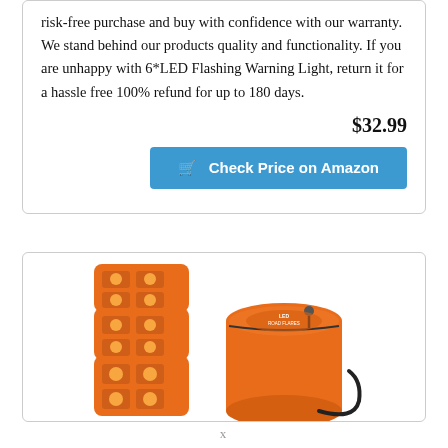risk-free purchase and buy with confidence with our warranty. We stand behind our products quality and functionality. If you are unhappy with 6*LED Flashing Warning Light, return it for a hassle free 100% refund for up to 180 days.
$32.99
Check Price on Amazon
[Figure (photo): Orange LED flashing warning lights stacked together next to an orange carrying case/bag with zipper and handle strap]